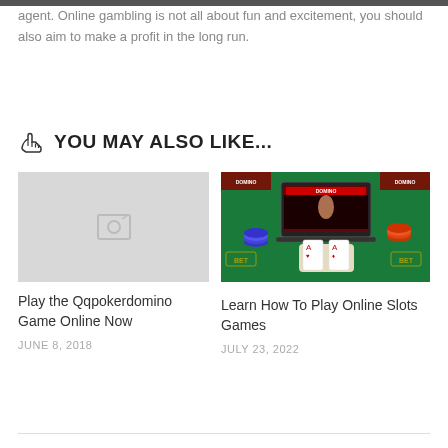agent. Online gambling is not all about fun and excitement, you should also aim to make a profit in the long run.
YOU MAY ALSO LIKE...
[Figure (photo): Placeholder image with broken image icon for Qqpokerdomino article]
Play the Qqpokerdomino Game Online Now
JUNE 8, 2018
[Figure (photo): Photo of hands holding playing cards on a casino poker table with chips and a laptop showing a gaming website]
Learn How To Play Online Slots Games
JULY 23, 2022